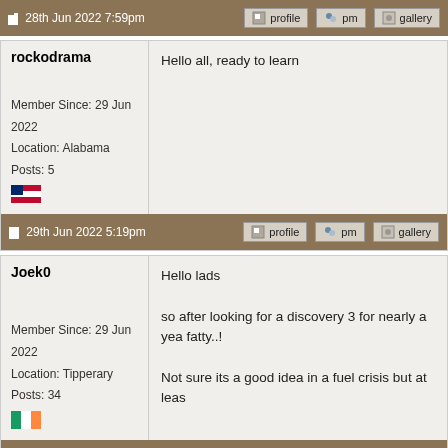Mark
28th Jun 2022 7:59pm
rockodrama
Hello all, ready to learn
Member Since: 29 Jun 2022
Location: Alabama
Posts: 5
29th Jun 2022 5:19pm
Joek0
Hello lads

so after looking for a discovery 3 for nearly a yea fatty..!

Not sure its a good idea in a fuel crisis but at leas
Member Since: 29 Jun 2022
Location: Tipperary
Posts: 34
29th Jun 2022 5:47pm
stan
Site Moderator
a big welcome and thanks for joining our forum a

lots of info in our wiki and of course the use of o
Member Since: 13 Jul 2010
Location: a moderate moderated